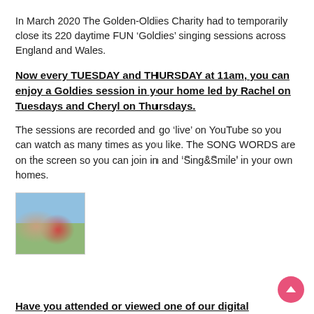In March 2020 The Golden-Oldies Charity had to temporarily close its 220 daytime FUN ‘Goldies’ singing sessions across England and Wales.
Now every TUESDAY and THURSDAY at 11am, you can enjoy a Goldies session in your home led by Rachel on Tuesdays and Cheryl on Thursdays.
The sessions are recorded and go ‘live’ on YouTube so you can watch as many times as you like. The SONG WORDS are on the screen so you can join in and ‘Sing&Smile’ in your own homes.
[Figure (photo): Two people outdoors with arms raised, one wearing a blue top and one wearing a red top, with a green/sky background.]
Have you attended or viewed one of our digital